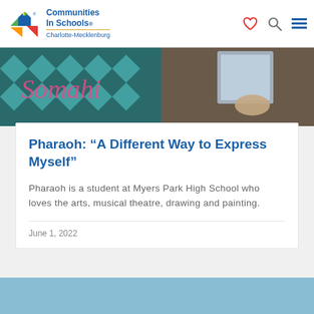Communities In Schools® Charlotte-Mecklenburg
[Figure (photo): Partial view of a student holding artwork with colorful chevron pattern banner in the background with cursive text]
Pharaoh: “A Different Way to Express Myself”
Pharaoh is a student at Myers Park High School who loves the arts, musical theatre, drawing and painting.
June 1, 2022